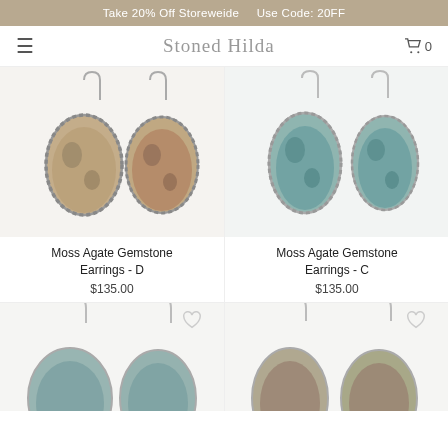Take 20% Off Storeweide   Use Code: 20FF
Stoned Hilda
[Figure (photo): Moss Agate Gemstone Earrings - D product photo showing two teardrop-shaped silver earrings with moss agate stones]
Moss Agate Gemstone Earrings - D
$135.00
[Figure (photo): Moss Agate Gemstone Earrings - C product photo showing two teardrop-shaped silver earrings with blue-green moss agate stones]
Moss Agate Gemstone Earrings - C
$135.00
[Figure (photo): Partial view of another pair of earrings at bottom left with heart/wishlist icon]
[Figure (photo): Partial view of another pair of earrings at bottom right with heart/wishlist icon]